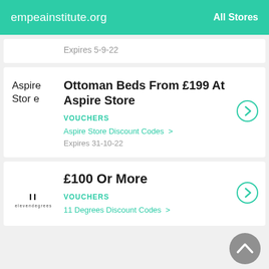empeainstitute.org | All Stores
Expires 5-9-22
Ottoman Beds From £199 At Aspire Store
VOUCHERS
Aspire Store Discount Codes >
Expires 31-10-22
£100 Or More
VOUCHERS
11 Degrees Discount Codes >